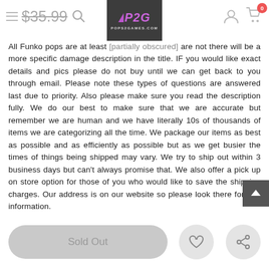$35.99 (strikethrough price)
All Funko pops are at least [partially obscured] are not there will be a more specific damage description in the title. IF you would like exact details and pics please do not buy until we can get back to you through email. Please note these types of questions are answered last due to priority. Also please make sure you read the description fully. We do our best to make sure that we are accurate but remember we are human and we have literally 10s of thousands of items we are categorizing all the time. We package our items as best as possible and as efficiently as possible but as we get busier the times of things being shipped may vary. We try to ship out within 3 business days but can't always promise that. We also offer a pick up on store option for those of you who would like to save the shipping charges. Our address is on our website so please look there for that information.
Sold Out